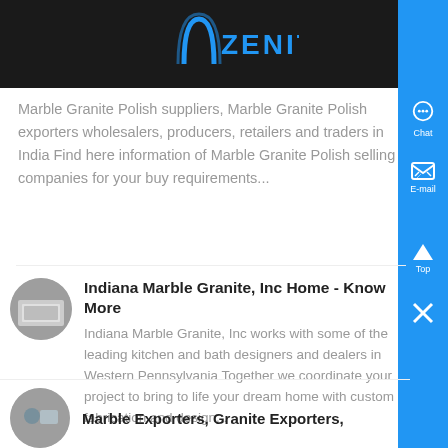ZENIT
Marble Granite Polish suppliers, Marble Granite Polish exporters wholesalers, producers, retailers and traders in India Find here information of Marble Granite Polish selling companies for your buy requirements...
[Figure (photo): Thumbnail image of marble granite surface]
Indiana Marble Granite, Inc Home - Know More
Indiana Marble Granite, Inc works with some of the leading kitchen and bath designers and dealers in Western Pennsylvania Together we coordinate your project to bring to life your dream home with custom fabrication and design...
[Figure (photo): Thumbnail image of marble/granite product]
Marble Exporters, Granite Exporters,